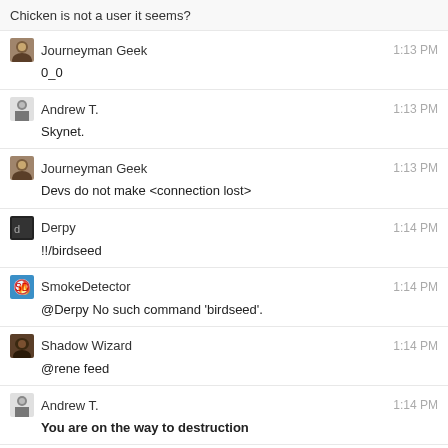Chicken is not a user it seems?
Journeyman Geek 1:13 PM
0_0
Andrew T. 1:13 PM
Skynet.
Journeyman Geek 1:13 PM
Devs do not make <connection lost>
Derpy 1:14 PM
!!/birdseed
SmokeDetector 1:14 PM
@Derpy No such command 'birdseed'.
Shadow Wizard 1:14 PM
@rene feed
Andrew T. 1:14 PM
You are on the way to destruction
Journeyman Geek 1:14 PM
@ShadowWizard we do we have a chicken feed? Or do we feed the chicken? Or does the chicken feed?